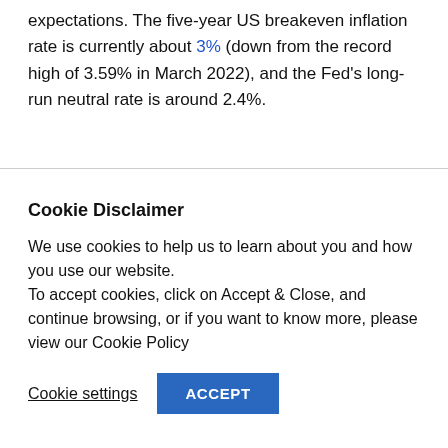expectations. The five-year US breakeven inflation rate is currently about 3% (down from the record high of 3.59% in March 2022), and the Fed's long-run neutral rate is around 2.4%.
Cookie Disclaimer
We use cookies to help us to learn about you and how you use our website.
To accept cookies, click on Accept & Close, and continue browsing, or if you want to know more, please view our Cookie Policy
Cookie settings   ACCEPT